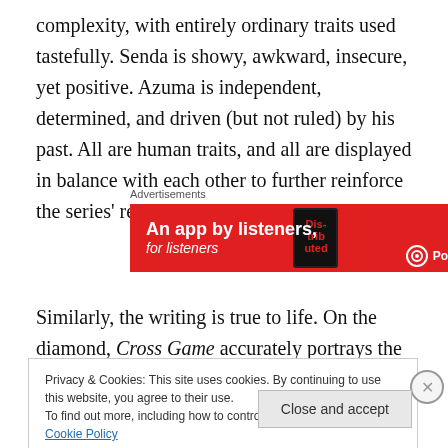complexity, with entirely ordinary traits used tastefully. Senda is showy, awkward, insecure, yet positive. Azuma is independent, determined, and driven (but not ruled) by his past. All are human traits, and all are displayed in balance with each other to further reinforce the series' realism.
[Figure (other): Pocket Casts advertisement banner: red background with text 'An app by listeners, for listeners' and Pocket Casts logo, with a book/device graphic]
Similarly, the writing is true to life. On the diamond, Cross Game accurately portrays the duality of Japanese youth
Privacy & Cookies: This site uses cookies. By continuing to use this website, you agree to their use.
To find out more, including how to control cookies, see here: Cookie Policy